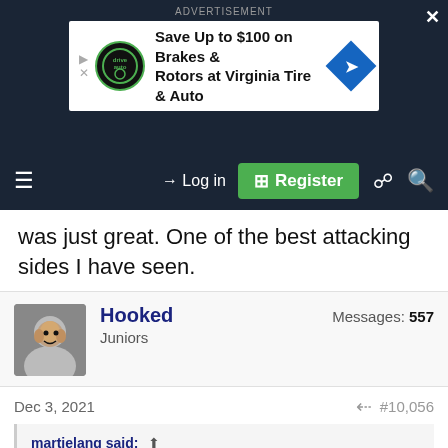[Figure (screenshot): Advertisement banner: Save Up to $100 on Brakes & Rotors at Virginia Tire & Auto]
[Figure (screenshot): Navigation bar with hamburger menu, Log in button, Register button, document icon, search icon]
was just great. One of the best attacking sides I have seen.
Hooked
Juniors
Messages: 557
Dec 3, 2021  #10,056
martielang said: ↑
Surely we've got some sort of back up plan if Api walks. Hopefully it doesn't start with a M and end in a itchell Kenny.